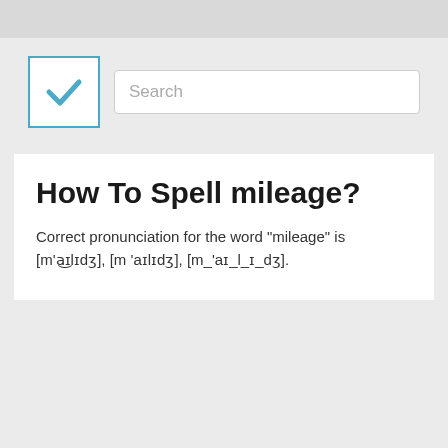[Figure (screenshot): Search bar UI with blue checkbox icon on the left and a text input field with 'Search' placeholder text]
How To Spell mileage?
Correct pronunciation for the word "mileage" is [m'aɪlɪdʒ], [m'aɪlɪdʒ], [m_'aɪ_l_ɪ_dʒ].